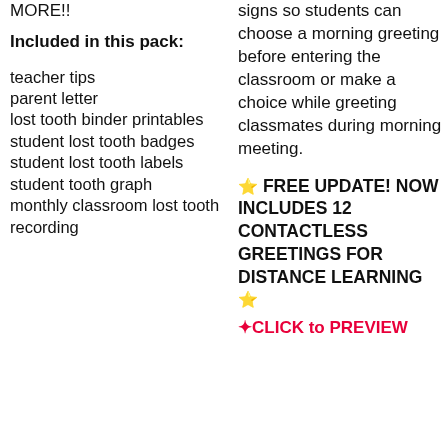MORE!!
Included in this pack:
teacher tips
parent letter
lost tooth binder printables
student lost tooth badges
student lost tooth labels
student tooth graph
monthly classroom lost tooth recording
signs so students can choose a morning greeting before entering the classroom or make a choice while greeting classmates during morning meeting.
⭐ FREE UPDATE! NOW INCLUDES 12 CONTACTLESS GREETINGS FOR DISTANCE LEARNING ⭐
✦CLICK to PREVIEW